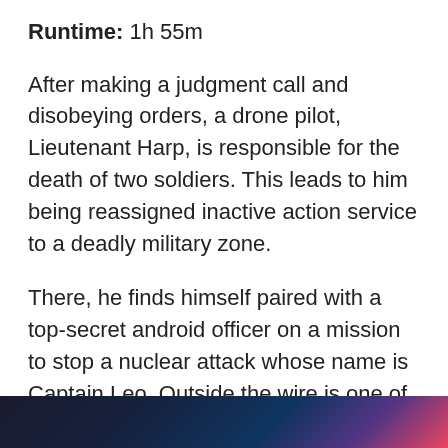Runtime: 1h 55m
After making a judgment call and disobeying orders, a drone pilot, Lieutenant Harp, is responsible for the death of two soldiers. This leads to him being reassigned inactive action service to a deadly military zone.
There, he finds himself paired with a top-secret android officer on a mission to stop a nuclear attack whose name is Captain Leo. Outside the wire is one of the best action-adventure movies on Netflix Australia.
7. Zathura: A Space Adventure (2005)
[Figure (photo): Dark colorful image strip at the bottom of the page, showing a space or sci-fi scene with blue and red tones]